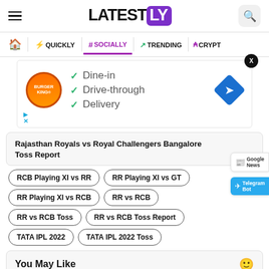LATESTLY
[Figure (screenshot): Navigation bar with home icon, QUICKLY, SOCIALLY (active/underlined), TRENDING, CRYPTO menu items]
[Figure (screenshot): Burger King advertisement showing Dine-in, Drive-through, Delivery options with checkmarks and navigation diamond icon. Close X button at top right.]
Rajasthan Royals vs Royal Challengers Bangalore Toss Report
RCB Playing XI vs RR
RR Playing XI vs GT
RR Playing XI vs RCB
RR vs RCB
RR vs RCB Toss
RR vs RCB Toss Report
TATA IPL 2022
TATA IPL 2022 Toss
You May Like